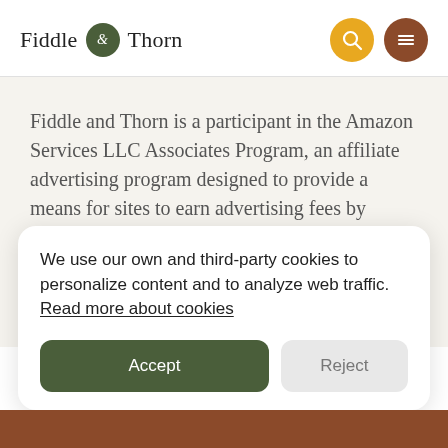Fiddle & Thorn
Fiddle and Thorn is a participant in the Amazon Services LLC Associates Program, an affiliate advertising program designed to provide a means for sites to earn advertising fees by
We use our own and third-party cookies to personalize content and to analyze web traffic. Read more about cookies
Accept
Reject